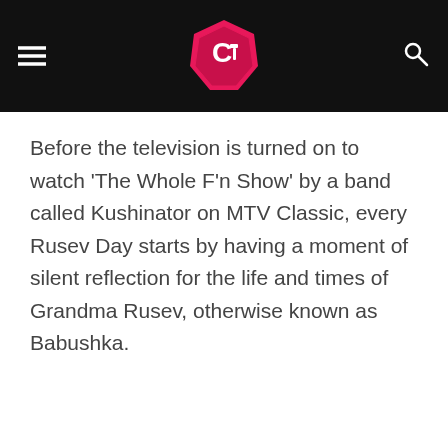Cultaholic
Before the television is turned on to watch 'The Whole F'n Show' by a band called Kushinator on MTV Classic, every Rusev Day starts by having a moment of silent reflection for the life and times of Grandma Rusev, otherwise known as Babushka.